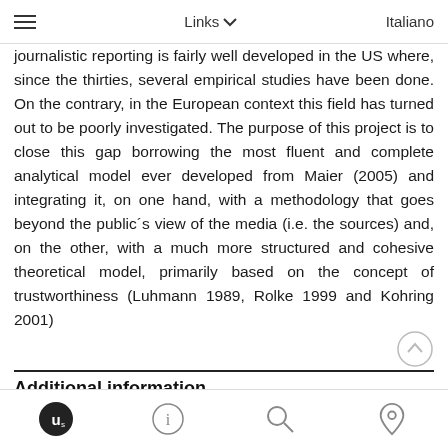Links   Italiano
journalistic reporting is fairly well developed in the US where, since the thirties, several empirical studies have been done. On the contrary, in the European context this field has turned out to be poorly investigated. The purpose of this project is to close this gap borrowing the most fluent and complete analytical model ever developed from Maier (2005) and integrating it, on one hand, with a methodology that goes beyond the public´s view of the media (i.e. the sources) and, on the other, with a much more structured and cohesive theoretical model, primarily based on the concept of trustworthiness (Luhmann 1989, Rolke 1999 and Kohring 2001)
Additional information